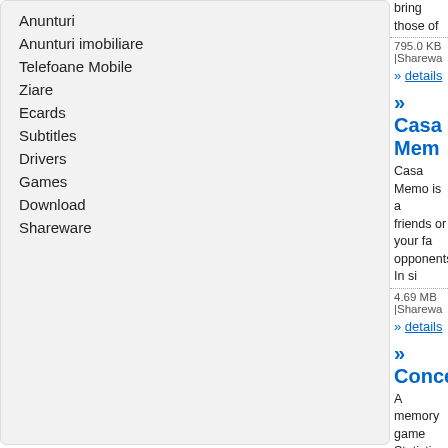Anunturi
Anunturi imobiliare
Telefoane Mobile
Ziare
Ecards
Subtitles
Drivers
Games
Download
Shareware
bring those of
795.0 KB |Shareware
» details
» Casa Memo
Casa Memo is a friends or your fa opponents. In si
4.69 MB |Shareware
» details
» Concentra
A memory game Statistics. Challe gravity. Duel, the
2.38 MB |Shareware
» details
» Doulber G
It may be hard to his name, or you flippers). Never
12.5 MB |Shareware
» details